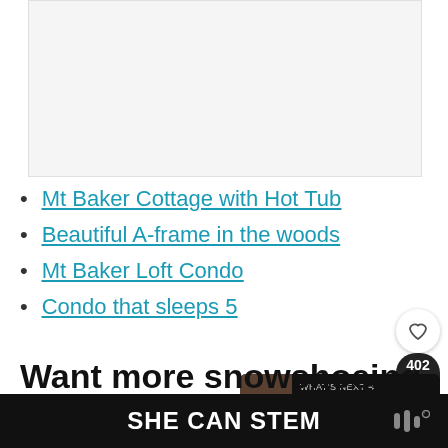[Figure (photo): Placeholder image area, light gray background]
Mt Baker Cottage with Hot Tub
Beautiful A-frame in the woods
Mt Baker Loft Condo
Condo that sleeps 5
Want more snowshoeing posts?
SHE CAN STEM